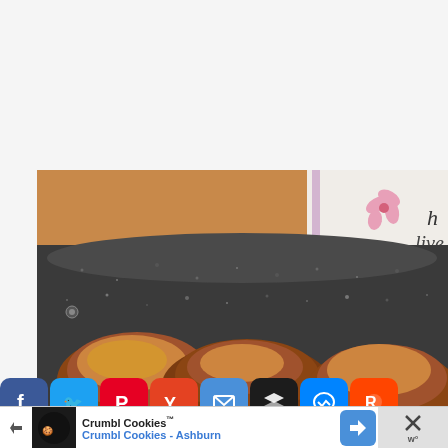[Figure (photo): A dark granite/stone non-stick frying pan with browned meatballs or meat patties cooking in it. In the background is a wooden surface and a white item with a pink flower and cursive text reading 'live'.]
[Figure (infographic): Social sharing bar with icons: Facebook (blue), Twitter (blue), Pinterest (red), Yummly (orange), Email (blue), Buffer/Layers (dark), Messenger (blue), Reddit (orange-red)]
[Figure (screenshot): Advertisement banner for Crumbl Cookies showing logo, text 'Crumbl Cookies™' and 'Crumbl Cookies - Ashburn', a blue navigation arrow icon, and a close button with X]